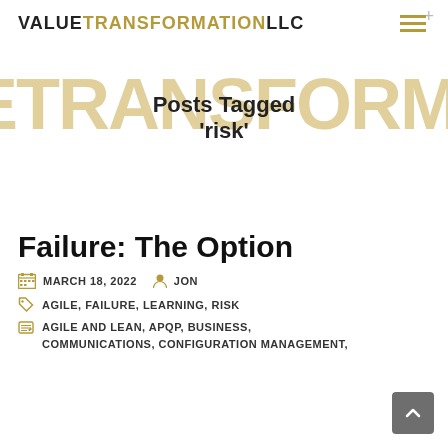VALUE TRANSFORMATION LLC
Posts Tagged 'risk'
Failure: The Option
MARCH 18, 2022   JON
AGILE, FAILURE, LEARNING, RISK
AGILE AND LEAN, APQP, BUSINESS, COMMUNICATIONS, CONFIGURATION MANAGEMENT,